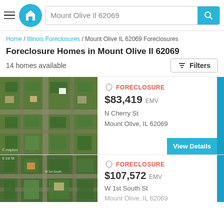Mount Olive Il 62069
Home / Illinois Foreclosures / Mount Olive IL 62069 Foreclosures
Foreclosure Homes in Mount Olive Il 62069
14 homes available
[Figure (screenshot): Aerial/satellite map view of N Cherry St, Mount Olive, IL 62069]
FORECLOSURE
$83,419 EMV
N Cherry St
Mount Olive, IL 62069
[Figure (screenshot): Aerial/satellite map view of W 1st South St, Mount Olive, IL 62069]
FORECLOSURE
$107,572 EMV
W 1st South St
Mount Olive, IL 62069